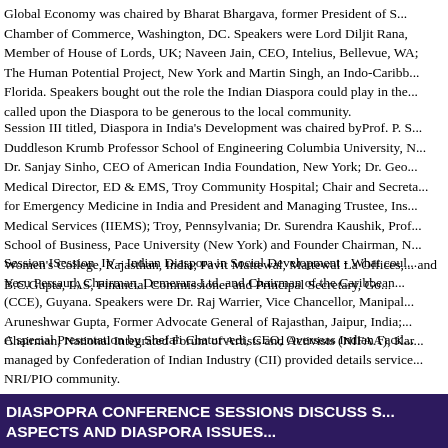Global Economy was chaired by Bharat Bhargava, former President of S... Chamber of Commerce, Washington, DC. Speakers were Lord Diljit Rana, Member of House of Lords, UK; Naveen Jain, CEO, Intelius, Bellevue, WA; The Human Potential Project, New York and Martin Singh, an Indo-Carib... Florida. Speakers bought out the role the Indian Diaspora could play in the... called upon the Diaspora to be generous to the local community.
Session III titled, Diaspora in India's Development was chaired by Prof. P. S... Duddleson Krumb Professor School of Engineering Columbia University, N... Dr. Sanjay Sinho, CEO of American India Foundation, New York; Dr. Geo... Medical Director, ED & EMS, Troy Community Hospital; Chair and Secreta... for Emergency Medicine in India and President and Managing Trustee, Ins... Medical Services (IIEMS); Troy, Pennsylvania; Dr. Surendra Kaushik, Prof... School of Business, Pace University (New York) and Founder Chairman, N... Women's College, Rajasthan, India; Pavit Mattewal, Mattewal La Offices,... and B.C.Gupta, IAS, Financial Commissioner and Principal Secretary, Go...
Session ISession IV - Indian Diaspora in Social Development - What cou... Yesu Persaud, Chairman, Demerara Ltd. and Chairman of the Caribbean... (CCE), Guyana. Speakers were Dr. Raj Warrier, Vice Chancellor, Manipal... Aruneshwar Gupta, Former Advocate General of Rajasthan, Jaipur, India;... Chairman, National Integrated Forum of Artists and Activists (NIFAA), Kar...
A special Presentation by Shefali Chaturvedi, CEO, Overseas Indian Faci... managed by Confederation of Indian Industry (CII) provided details service... NRI/PIO community.
DIASPOPRA CONFERENCE SESSIONS DISCUSS S... ASPECTS AND DIASPORA ISSUES...